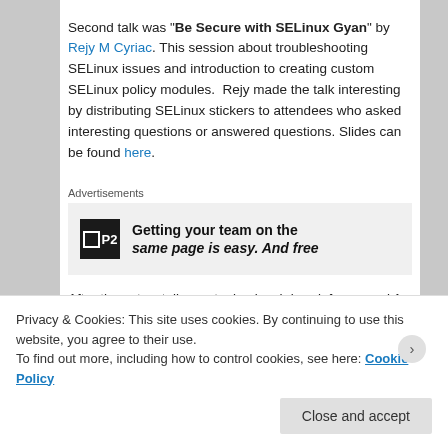Second talk was "Be Secure with SELinux Gyan" by Rejy M Cyriac. This session about troubleshooting SELinux issues and introduction to creating custom SELinux policy modules. Rejy made the talk interesting by distributing SELinux stickers to attendees who asked interesting questions or answered questions. Slides can be found here.
Advertisements
[Figure (other): Advertisement banner for P2 showing text: Getting your team on the same page is easy. And free]
After these two talks we took a lunch break for around 1 hour. During the lunch break we distributed the CentOS t
Privacy & Cookies: This site uses cookies. By continuing to use this website, you agree to their use.
To find out more, including how to control cookies, see here: Cookie Policy